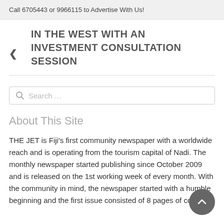Call 6705443 or 9966115 to Advertise With Us!
IN THE WEST WITH AN INVESTMENT CONSULTATION SESSION
[Figure (other): Search input box with magnifying glass icon and placeholder text 'Search ...']
About This Site
THE JET is Fiji's first community newspaper with a worldwide reach and is operating from the tourism capital of Nadi. The monthly newspaper started publishing since October 2009 and is released on the 1st working week of every month. With the community in mind, the newspaper started with a humble beginning and the first issue consisted of 8 pages of community content. The town and community...